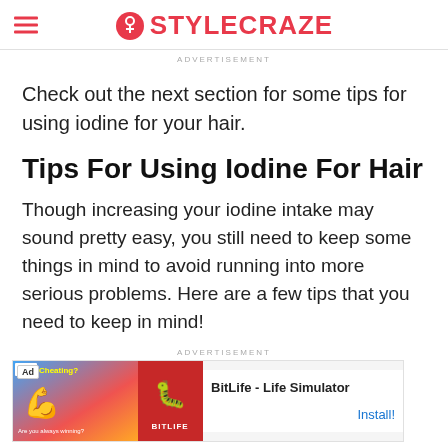STYLECRAZE
ADVERTISEMENT
Check out the next section for some tips for using iodine for your hair.
Tips For Using Iodine For Hair
Though increasing your iodine intake may sound pretty easy, you still need to keep some things in mind to avoid running into more serious problems. Here are a few tips that you need to keep in mind!
ADVERTISEMENT
[Figure (other): Advertisement banner for BitLife - Life Simulator app showing Install button]